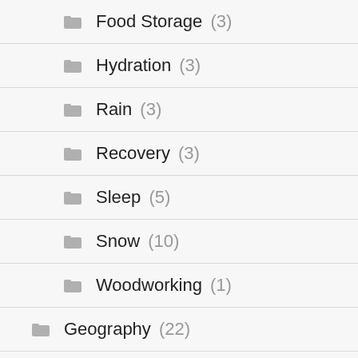Food Storage (3)
Hydration (3)
Rain (3)
Recovery (3)
Sleep (5)
Snow (10)
Woodworking (1)
Geography (22)
Beach (2)
Desert (1)